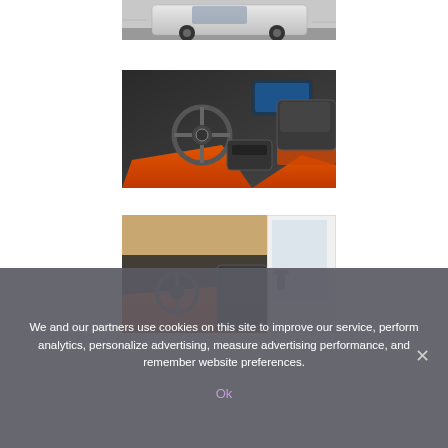[Figure (photo): Partial view of a white Volvo SUV driving on a road, bottom-cropped]
[Figure (photo): Interior of Volvo car showing steering wheel, dashboard, and orange floor mats/seats]
[Figure (photo): Interior of Volvo car from passenger side showing orange floor and black seats, door open]
We and our partners use cookies on this site to improve our service, perform analytics, personalize advertising, measure advertising performance, and remember website preferences.
Ok